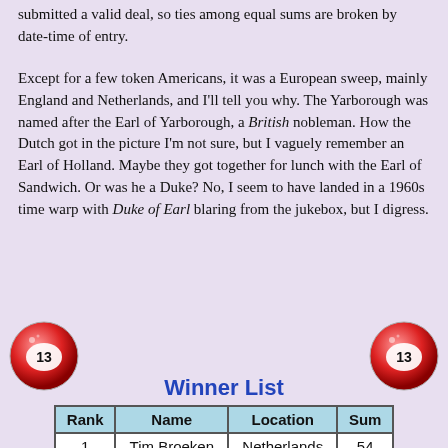submitted a valid deal, so ties among equal sums are broken by date-time of entry.
Except for a few token Americans, it was a European sweep, mainly England and Netherlands, and I'll tell you why. The Yarborough was named after the Earl of Yarborough, a British nobleman. How the Dutch got in the picture I'm not sure, but I vaguely remember an Earl of Holland. Maybe they got together for lunch with the Earl of Sandwich. Or was he a Duke? No, I seem to have landed in a 1960s time warp with Duke of Earl blaring from the jukebox, but I digress.
[Figure (illustration): Two red billiard balls numbered 13, one on the left and one on the right]
Winner List
| Rank | Name | Location | Sum |
| --- | --- | --- | --- |
| 1 | Tim Broeken | Netherlands | 54 |